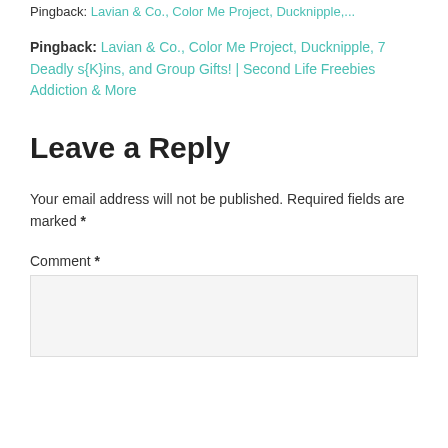Pingback: Lavian & Co., Color Me Project, Ducknipple,...
Pingback: Lavian & Co., Color Me Project, Ducknipple, 7 Deadly s{K}ins, and Group Gifts! | Second Life Freebies Addiction & More
Leave a Reply
Your email address will not be published. Required fields are marked *
Comment *